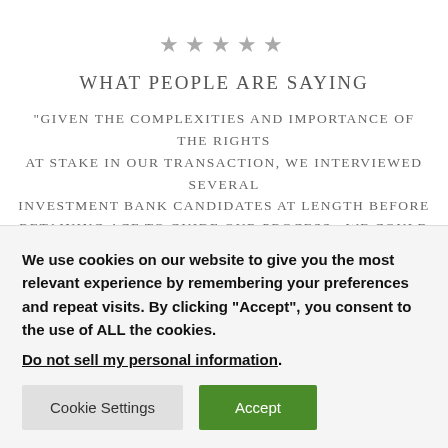[Figure (other): Five grey star rating icons displayed in a row]
What People are Saying
"Given the complexities and importance of the rights at stake in our transaction, we interviewed several investment bank candidates at length before retaining ACF to guide our process. We could not [... ACF ...]
We use cookies on our website to give you the most relevant experience by remembering your preferences and repeat visits. By clicking “Accept”, you consent to the use of ALL the cookies.
Do not sell my personal information.